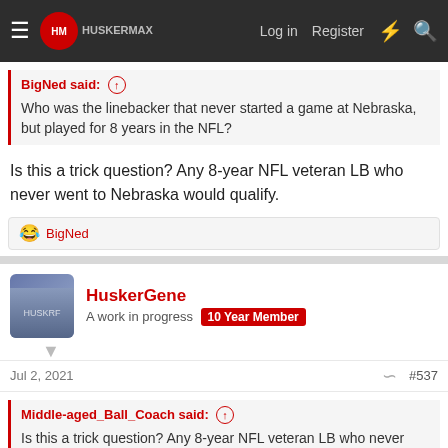HuskerMax forum navigation bar with Log in, Register links
BigNed said: ↑
Who was the linebacker that never started a game at Nebraska, but played for 8 years in the NFL?
Is this a trick question? Any 8-year NFL veteran LB who never went to Nebraska would qualify.
😂 BigNed
HuskerGene
A work in progress  10 Year Member
Jul 2, 2021  #537
Middle-aged_Ball_Coach said: ↑
Is this a trick question? Any 8-year NFL veteran LB who never went to Nebraska would qualify.